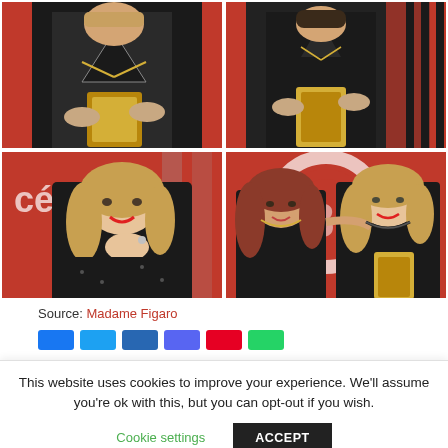[Figure (photo): 2x2 grid of photos showing a woman (Cate Blanchett) at the César Awards holding a golden statuette. Top-left: close crop of woman in black sequin outfit holding award. Top-right: wider shot of same woman holding award, red background. Bottom-left: woman smiling broadly, hand near chin, César backdrop. Bottom-right: two women posing together, one holding award, red/graphic backdrop.]
Source: Madame Figaro
This website uses cookies to improve your experience. We'll assume you're ok with this, but you can opt-out if you wish.
Cookie settings
ACCEPT